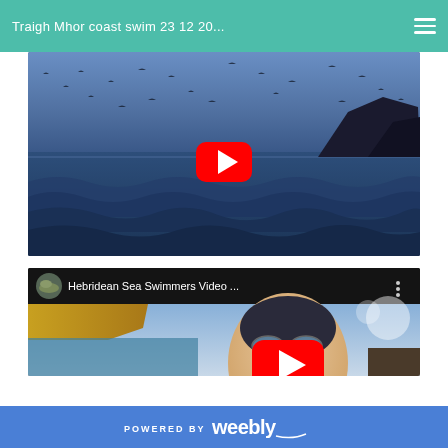Traigh Mhor coast swim 23 12 20...
[Figure (screenshot): YouTube video thumbnail showing ocean waves with seabirds flying overhead and rocky cliffs in the background, with a red YouTube play button overlay. Title: Traigh Mhor coast swim 23 12 20...]
[Figure (screenshot): YouTube video embed showing Hebridean Sea Swimmers Video... channel, with a swimmer in goggles and swim cap smiling at camera with coastal scenery behind, and a red YouTube play button overlay.]
POWERED BY weebly